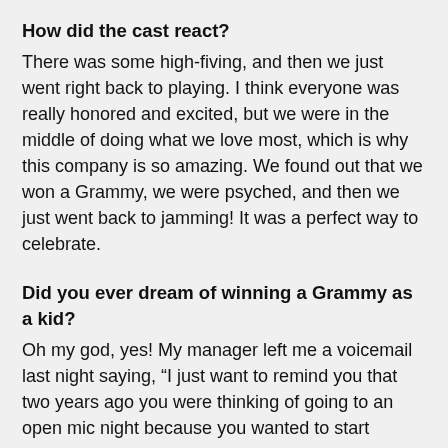How did the cast react?
There was some high-fiving, and then we just went right back to playing. I think everyone was really honored and excited, but we were in the middle of doing what we love most, which is why this company is so amazing. We found out that we won a Grammy, we were psyched, and then we just went back to jamming! It was a perfect way to celebrate.
Did you ever dream of winning a Grammy as a kid?
Oh my god, yes! My manager left me a voicemail last night saying, “I just want to remind you that two years ago you were thinking of going to an open mic night because you wanted to start playing piano and singing more. That was two years ago, and look what just happened.” I’ve always wanted to be a musician, or just part of anything to do with music. There’s nothing like it. It’s on par with love.